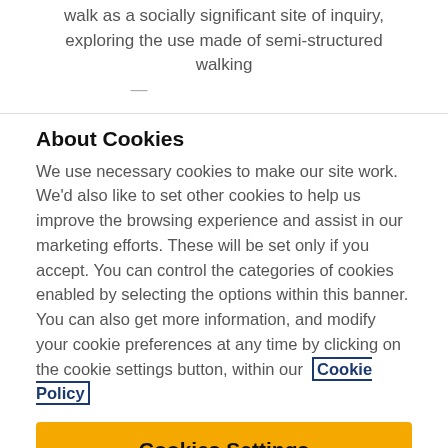walk as a socially significant site of inquiry, exploring the use made of semi-structured walking interviews to...
About Cookies
We use necessary cookies to make our site work. We'd also like to set other cookies to help us improve the browsing experience and assist in our marketing efforts. These will be set only if you accept. You can control the categories of cookies enabled by selecting the options within this banner. You can also get more information, and modify your cookie preferences at any time by clicking on the cookie settings button, within our Cookie Policy
Cookies Settings
Reject All Cookies